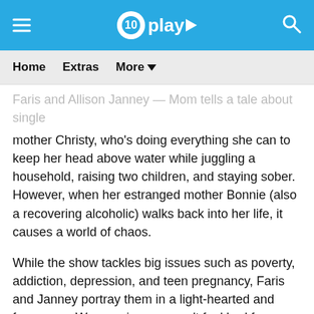10play
Home  Extras  More
Faris and Allison Janney — Mom tells a tale about single mother Christy, who's doing everything she can to keep her head above water while juggling a household, raising two children, and staying sober. However, when her estranged mother Bonnie (also a recovering alcoholic) walks back into her life, it causes a world of chaos.
While the show tackles big issues such as poverty, addiction, depression, and teen pregnancy, Faris and Janney portray them in a light-hearted and funny way. We promise you won't feel bad for laughing along with them.
RELATED
ARTICLE: https://10play.com.au/mom/articles/mom-is-unlike-other-american-sitcoms-heres-